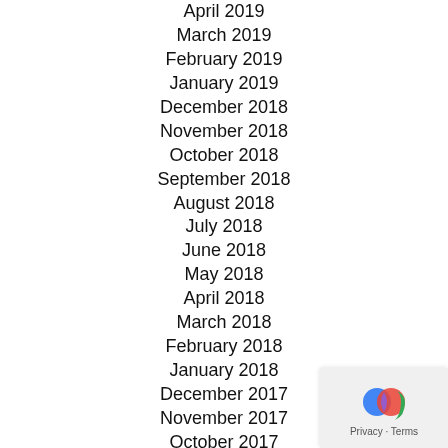April 2019
March 2019
February 2019
January 2019
December 2018
November 2018
October 2018
September 2018
August 2018
July 2018
June 2018
May 2018
April 2018
March 2018
February 2018
January 2018
December 2017
November 2017
October 2017
July 2017
June 2017
February 2017
January 2017